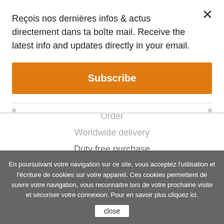Reçois nos dernières infos & actus directement dans ta boîte mail. Receive the latest info and updates directly in your email.
Subscribe
Colissimo
Chronopost
BUYING ON ZERO G
Shipping
Returns
Worldwide delivery
Duty free purchase
Store delivery
Terms and conditions
En poursuivant votre navigation sur ce site, vous acceptez l'utilisation et l'écriture de cookies sur votre appareil. Ces cookies permettent de suivre votre navigation, vous reconnaitre lors de votre prochaine visite et sécuriser votre connexion. Pour en savoir plus cliquez ici.
close